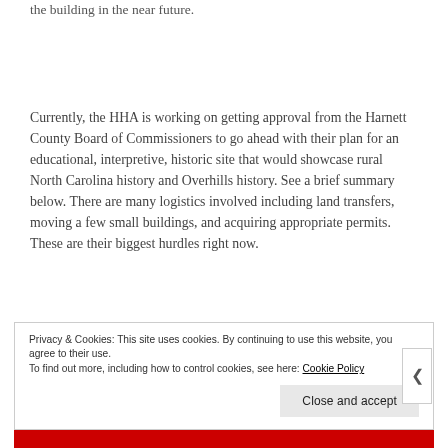the building in the near future.
Currently, the HHA is working on getting approval from the Harnett County Board of Commissioners to go ahead with their plan for an educational, interpretive, historic site that would showcase rural North Carolina history and Overhills history. See a brief summary below. There are many logistics involved including land transfers, moving a few small buildings, and acquiring appropriate permits. These are their biggest hurdles right now.
Privacy & Cookies: This site uses cookies. By continuing to use this website, you agree to their use.
To find out more, including how to control cookies, see here: Cookie Policy